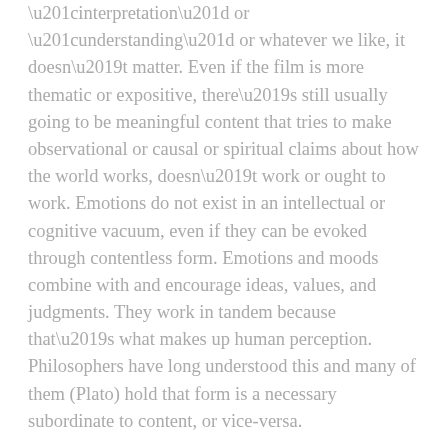“interpretation” or “understanding” or whatever we like, it doesn’t matter. Even if the film is more thematic or expositive, there’s still usually going to be meaningful content that tries to make observational or causal or spiritual claims about how the world works, doesn’t work or ought to work. Emotions do not exist in an intellectual or cognitive vacuum, even if they can be evoked through contentless form. Emotions and moods combine with and encourage ideas, values, and judgments. They work in tandem because that’s what makes up human perception. Philosophers have long understood this and many of them (Plato) hold that form is a necessary subordinate to content, or vice-versa.
That is not to say there aren’t examples of film that more closely resemble other art-forms than narrative. That anyone would TRY to explain Malick’s To The Wonder is surprising to me. Kubrick’s 2001 is probably the best example of film-art that may or may not be about the narrative’s relationship to the